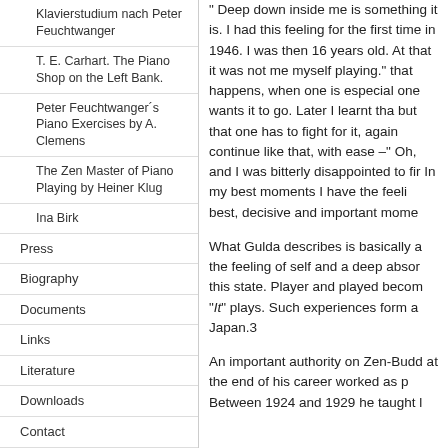Klavierstudium nach Peter Feuchtwanger
T. E. Carhart. The Piano Shop on the Left Bank.
Peter Feuchtwanger´s Piano Exercises by A. Clemens
The Zen Master of Piano Playing by Heiner Klug
Ina Birk
Press
Biography
Documents
Links
Literature
Downloads
Contact
Français - French
Italiano - Italian
Español - Spanish
Japanese
Sitemap
" Deep down inside me is something it is. I had this feeling for the first time in 1946. I was then 16 years old. At that it was not me myself playing." has that happens, when one is especially one wants it to go. Later I learnt tha but that one has to fight for it, again continue like that, with ease –" Oh, and I was bitterly disappointed to fir In my best moments I have the feeli best, decisive and important mome
What Gulda describes is basically a the feeling of self and a deep absor this state. Player and played becom "It" plays. Such experiences form a Japan.3
An important authority on Zen-Budd at the end of his career worked as p Between 1924 and 1929 he taught l